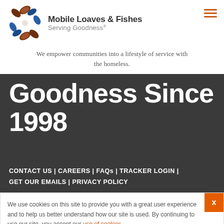[Figure (logo): Mobile Loaves & Fishes logo with circular emblem of fish and bread icons in brown and blue, with organization name and tagline 'Serving Goodness.']
We empower communities into a lifestyle of service with the homeless.
Goodness Since 1998
CONTACT US | CAREERS | FAQs | TRACKER LOGIN | GET OUR EMAILS | PRIVACY POLICY
We use cookies on this site to provide you with a great user experience and to help us better understand how our site is used. By continuing to use our site, you accept our use of cookies.